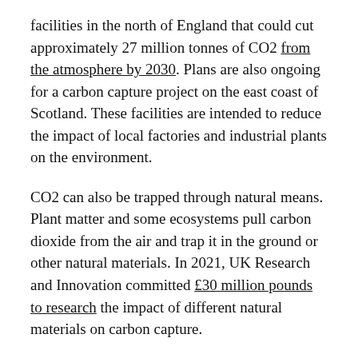facilities in the north of England that could cut approximately 27 million tonnes of CO2 from the atmosphere by 2030. Plans are also ongoing for a carbon capture project on the east coast of Scotland. These facilities are intended to reduce the impact of local factories and industrial plants on the environment.
CO2 can also be trapped through natural means. Plant matter and some ecosystems pull carbon dioxide from the air and trap it in the ground or other natural materials. In 2021, UK Research and Innovation committed £30 million pounds to research the impact of different natural materials on carbon capture.
This massive project will be measuring the effects of peatland, enhanced rock weathering, biochar, afforestation, and bioenergy crops on carbon capture. Although natural means of CCS can't pull excessive